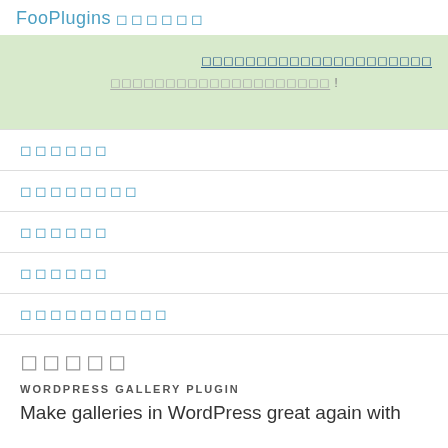FooPlugins ◻◻◻◻◻◻
[Figure (screenshot): Green banner with centered underlined placeholder text and a right-aligned underlined link text]
◻◻◻◻◻◻
◻◻◻◻◻◻◻◻
◻◻◻◻◻◻
◻◻◻◻◻◻
◻◻◻◻◻◻◻◻◻◻
◻◻◻◻◻
WORDPRESS GALLERY PLUGIN
Make galleries in WordPress great again with